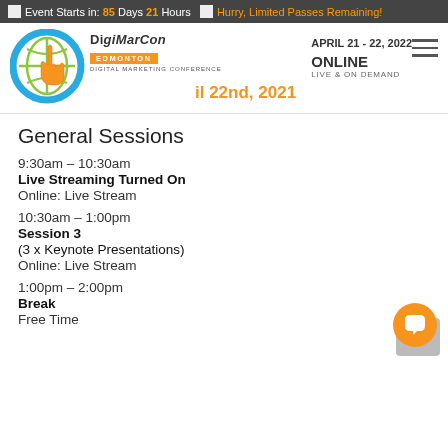Event Starts in: 85 Days 21 Hours  |  Hurry, Limited Passes Remaining!
[Figure (logo): DigiMarCon Edmonton Digital Marketing Conference logo with globe and hand cursor icon, date APRIL 21 - 22, 2022, ONLINE LIVE & ON DEMAND, overlay text: il 22nd, 2021]
General Sessions
9:30am – 10:30am
Live Streaming Turned On
Online: Live Stream
10:30am – 1:00pm
Session 3
(3 x Keynote Presentations)
Online: Live Stream
1:00pm – 2:00pm
Break
Free Time